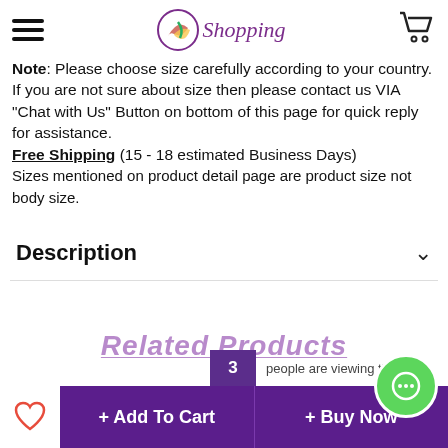GO Shopping
Note: Please choose size carefully according to your country. If you are not sure about size then please contact us VIA "Chat with Us" Button on bottom of this page for quick reply for assistance.
Free Shipping (15 - 18 estimated Business Days)
Sizes mentioned on product detail page are product size not body size.
Description
3 people are viewing this item
+ Add To Cart   + Buy Now